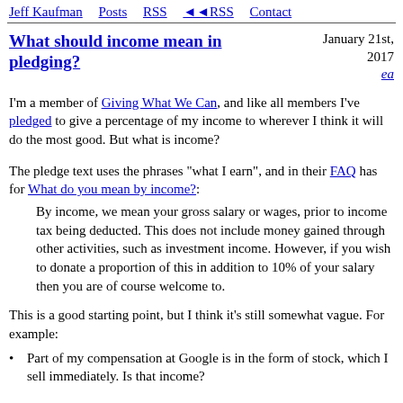Jeff Kaufman   Posts   RSS   ◄◄RSS   Contact
What should income mean in pledging?
January 21st, 2017
ea
I'm a member of Giving What We Can, and like all members I've pledged to give a percentage of my income to wherever I think it will do the most good. But what is income?
The pledge text uses the phrases "what I earn", and in their FAQ has for What do you mean by income?:
By income, we mean your gross salary or wages, prior to income tax being deducted. This does not include money gained through other activities, such as investment income. However, if you wish to donate a proportion of this in addition to 10% of your salary then you are of course welcome to.
This is a good starting point, but I think it's still somewhat vague. For example:
Part of my compensation at Google is in the form of stock, which I sell immediately. Is that income?